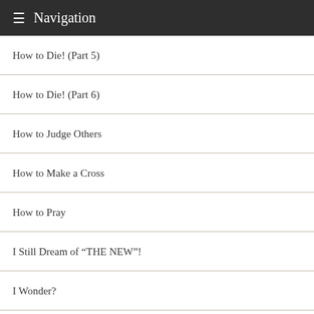☰ Navigation
How to Die! (Part 5)
How to Die! (Part 6)
How to Judge Others
How to Make a Cross
How to Pray
I Still Dream of “THE NEW”!
I Wonder?
In Defense of Evangelism, Conversion, Proselytizing & Missions!